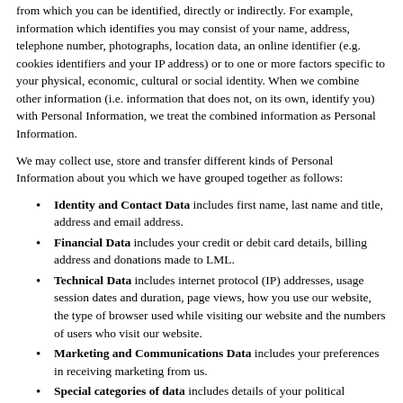from which you can be identified, directly or indirectly. For example, information which identifies you may consist of your name, address, telephone number, photographs, location data, an online identifier (e.g. cookies identifiers and your IP address) or to one or more factors specific to your physical, economic, cultural or social identity. When we combine other information (i.e. information that does not, on its own, identify you) with Personal Information, we treat the combined information as Personal Information.
We may collect use, store and transfer different kinds of Personal Information about you which we have grouped together as follows:
Identity and Contact Data includes first name, last name and title, address and email address.
Financial Data includes your credit or debit card details, billing address and donations made to LML.
Technical Data includes internet protocol (IP) addresses, usage session dates and duration, page views, how you use our website, the type of browser used while visiting our website and the numbers of users who visit our website.
Marketing and Communications Data includes your preferences in receiving marketing from us.
Special categories of data includes details of your political opinions.